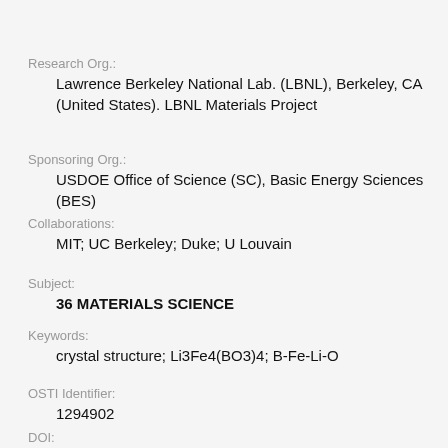Research Org.:
Lawrence Berkeley National Lab. (LBNL), Berkeley, CA (United States). LBNL Materials Project
Sponsoring Org.:
USDOE Office of Science (SC), Basic Energy Sciences (BES)
Collaborations:
MIT; UC Berkeley; Duke; U Louvain
Subject:
36 MATERIALS SCIENCE
Keywords:
crystal structure; Li3Fe4(BO3)4; B-Fe-Li-O
OSTI Identifier:
1294902
DOI: